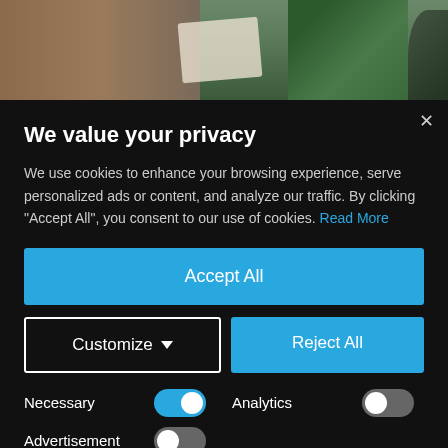[Figure (photo): Background photo showing a person wearing a green jacket/uniform, partially visible behind a cookie consent modal overlay]
We value your privacy
We use cookies to enhance your browsing experience, serve personalized ads or content, and analyze our traffic. By clicking "Accept All", you consent to our use of cookies. Read More
Accept All
Customize ▼
Reject All
Necessary
Analytics
Advertisement
Save My Preferences